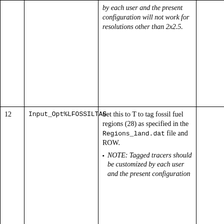| # | Name | Description |  |
| --- | --- | --- | --- |
|  |  | by each user and the present configuration will not work for resolutions other than 2x2.5. |  |
| 12 | Input_Opt%LFOSSILTAG | Set this to T to tag fossil fuel regions (28) as specified in the Regions_land.dat file and ROW.
• NOTE: Tagged tracers should be customized by each user and the present configuration |  |